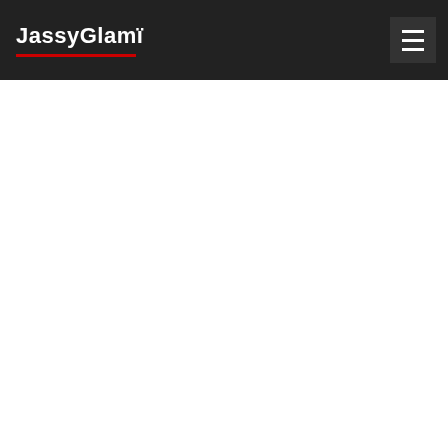JassyGlamï
[Figure (screenshot): White empty content area below the navigation header]